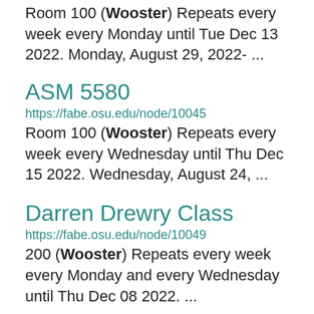Room 100 (Wooster) Repeats every week every Monday until Tue Dec 13 2022. Monday, August 29, 2022- ...
ASM 5580
https://fabe.osu.edu/node/10045
Room 100 (Wooster) Repeats every week every Wednesday until Thu Dec 15 2022. Wednesday, August 24, ...
Darren Drewry Class
https://fabe.osu.edu/node/10049
200 (Wooster) Repeats every week every Monday and every Wednesday until Thu Dec 08 2022. ...